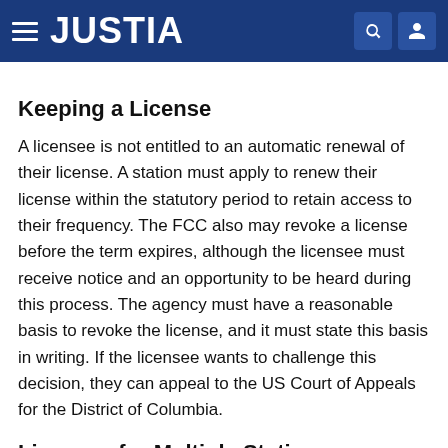JUSTIA
Keeping a License
A licensee is not entitled to an automatic renewal of their license. A station must apply to renew their license within the statutory period to retain access to their frequency. The FCC also may revoke a license before the term expires, although the licensee must receive notice and an opportunity to be heard during this process. The agency must have a reasonable basis to revoke the license, and it must state this basis in writing. If the licensee wants to challenge this decision, they can appeal to the US Court of Appeals for the District of Columbia.
Licenses for Multiple Stations